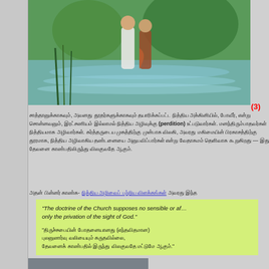[Figure (illustration): Painting of two figures standing in a body of water, surrounded by greenery and reeds — a baptism scene.]
(3) [Tamil text with 'perdition' in bold] — paragraph discussing perdition and related theological concepts in Tamil.
[Tamil reference line with hyperlinked Tamil text]
"The doctrine of the Church supposes no sensible or af... only the privation of the sight of God."
"[Tamil translation of above quote]"
[Figure (photo): Partial photo visible at the bottom of the page.]